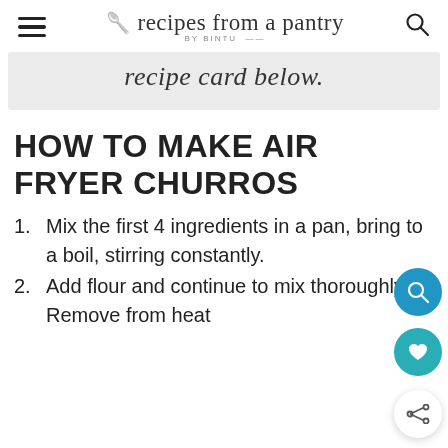recipes from a pantry BY BINTU
recipe card below.
HOW TO MAKE AIR FRYER CHURROS
Mix the first 4 ingredients in a pan, bring to a boil, stirring constantly.
Add flour and continue to mix thoroughly. Remove from heat